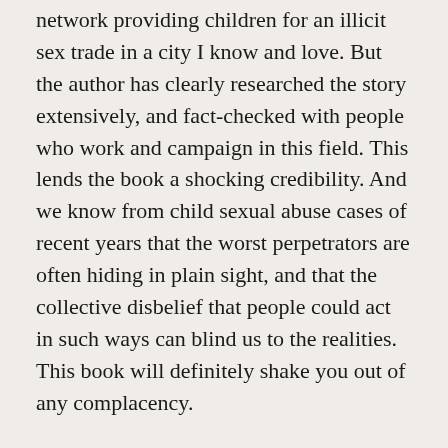network providing children for an illicit sex trade in a city I know and love. But the author has clearly researched the story extensively, and fact-checked with people who work and campaign in this field. This lends the book a shocking credibility. And we know from child sexual abuse cases of recent years that the worst perpetrators are often hiding in plain sight, and that the collective disbelief that people could act in such ways can blind us to the realities. This book will definitely shake you out of any complacency.
I recommend this book – it is hard to say it's enjoyable, more that it is an important book, that is compelling, thought-provoking and